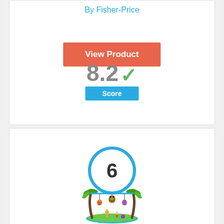By Fisher-Price
View Product
8.2 ✓
Score
6
[Figure (photo): Baby activity gym toy with colorful animal figures, palm tree arches, and hanging toys on a teal base]